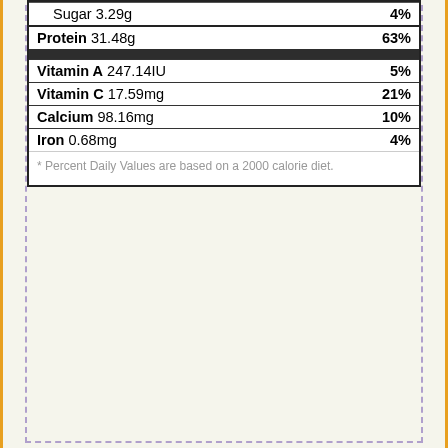| Nutrient | %DV |
| --- | --- |
| Sugar 3.29g | 4% |
| Protein 31.48g | 63% |
| Vitamin A 247.14IU | 5% |
| Vitamin C 17.59mg | 21% |
| Calcium 98.16mg | 10% |
| Iron 0.68mg | 4% |
* Percent Daily Values are based on a 2000 calorie diet.